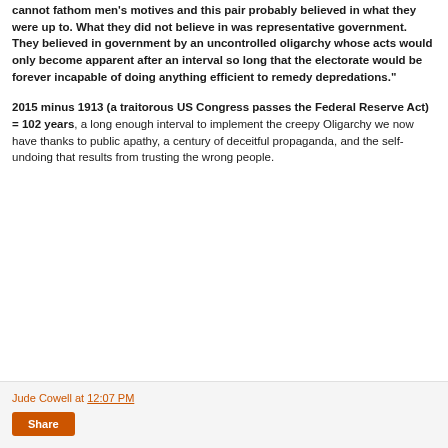cannot fathom men's motives and this pair probably believed in what they were up to. What they did not believe in was representative government. They believed in government by an uncontrolled oligarchy whose acts would only become apparent after an interval so long that the electorate would be forever incapable of doing anything efficient to remedy depredations."
2015 minus 1913 (a traitorous US Congress passes the Federal Reserve Act) = 102 years, a long enough interval to implement the creepy Oligarchy we now have thanks to public apathy, a century of deceitful propaganda, and the self-undoing that results from trusting the wrong people.
Jude Cowell at 12:07 PM
Share